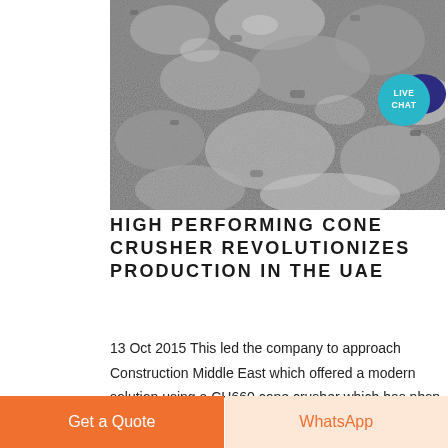[Figure (photo): Close-up photograph of crushed grey aggregate/stone particles from a cone crusher, in black and white]
[Figure (illustration): Live Chat speech bubble badge with teal/cyan circle and dark blue chat icon]
HIGH PERFORMING CONE CRUSHER REVOLUTIONIZES PRODUCTION IN THE UAE
13 Oct 2015 This led the company to approach Construction Middle East which offered a modern solution using a CH660 cone crusher which has nbsp ...
[Figure (photo): Partial view of industrial machinery at bottom of page]
[Figure (other): Blue square button with white arrow/link icon]
Get a Quote
WhatsApp